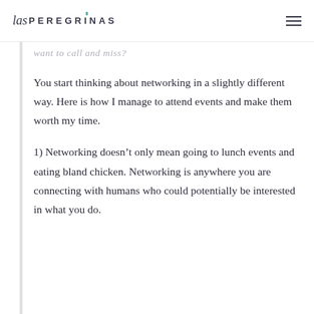las PEREGRINAS
want to call and miss?
You start thinking about networking in a slightly different way. Here is how I manage to attend events and make them worth my time.
1) Networking doesn't only mean going to lunch events and eating bland chicken. Networking is anywhere you are connecting with humans who could potentially be interested in what you do.